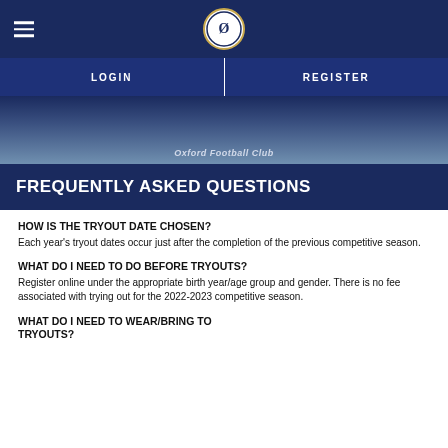Oxford Football Club
FREQUENTLY ASKED QUESTIONS
HOW IS THE TRYOUT DATE CHOSEN?
Each year's tryout dates occur just after the completion of the previous competitive season.
WHAT DO I NEED TO DO BEFORE TRYOUTS?
Register online under the appropriate birth year/age group and gender. There is no fee associated with trying out for the 2022-2023 competitive season.
WHAT DO I NEED TO WEAR/BRING TO TRYOUTS?